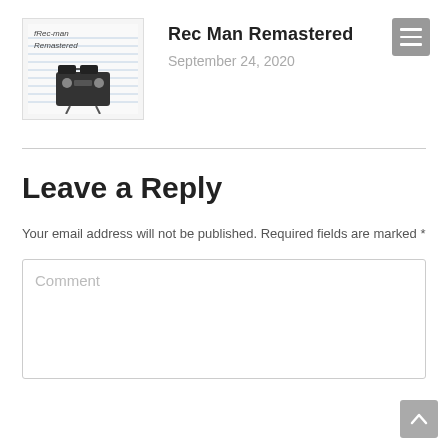[Figure (illustration): Hand-drawn sketch on lined paper showing 'Rec Man Remastered' text with a cartoon character wearing sunglasses]
Rec Man Remastered
September 24, 2020
Leave a Reply
Your email address will not be published. Required fields are marked *
Comment